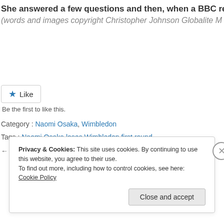She answered a few questions and then, when a BBC reporter
(words and images copyright Christopher Johnson Globalite M
Like
Be the first to like this.
Category : Naomi Osaka, Wimbledon
Tags : Naomi Osaka loses Wimbledon first round
← Federer, at home in Halle, wins 10th title
Privacy & Cookies: This site uses cookies. By continuing to use this website, you agree to their use.
To find out more, including how to control cookies, see here: Cookie Policy
Close and accept